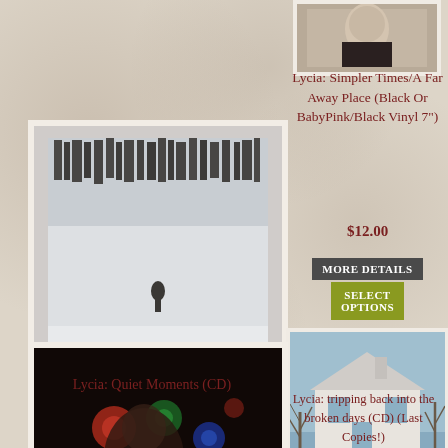[Figure (photo): Album/product image top right - partial portrait photo]
Lycia: Simpler Times/A Far Away Place (Black Or BabyPink/Black Vinyl 7")
$12.00
MORE DETAILS
SELECT OPTIONS
[Figure (photo): Lycia Quiet Moments CD album art - winter snow scene with figure]
Lycia: Quiet Moments (CD)
[Figure (photo): Lycia house exterior album art - white farmhouse with bare trees]
[Figure (photo): Lycia tripping back into the broken days CD album art - dark with colorful lights]
Lycia: tripping back into the broken days (CD) (Last Copies!)
$16.00